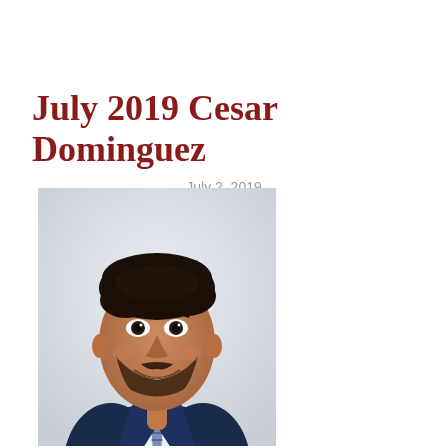July 2019 Cesar Dominguez
July 2, 2019
[Figure (photo): Professional headshot of Cesar Dominguez, a young man with dark hair, beard, smiling, wearing a navy blue suit jacket, white dress shirt, and striped tie, against a light gray background.]